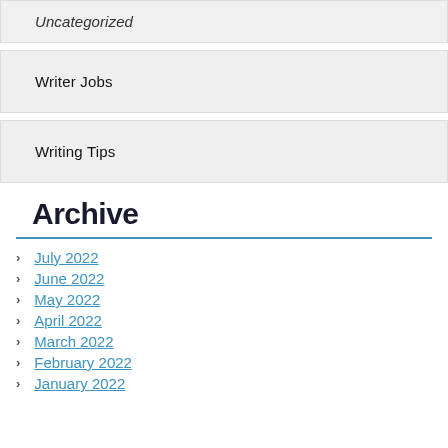Uncategorized
Writer Jobs
Writing Tips
Archive
July 2022
June 2022
May 2022
April 2022
March 2022
February 2022
January 2022